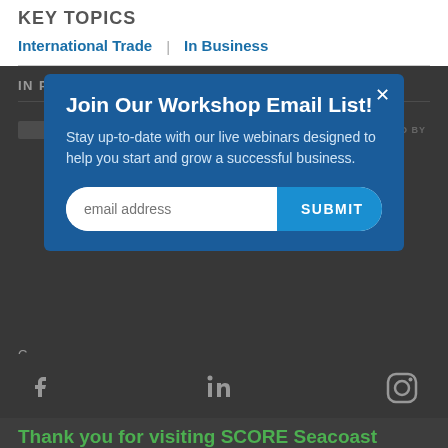KEY TOPICS
International Trade
In Business
IN PARTNERSHIP WITH
[Figure (other): Partial logos row with 'POWERED BY' text]
Join Our Workshop Email List! Stay up-to-date with our live webinars designed to help you start and grow a successful business.
[Figure (other): Email address input with SUBMIT button]
[Figure (other): Social media icons: Facebook, LinkedIn, Instagram]
Thank you for visiting SCORE Seacoast